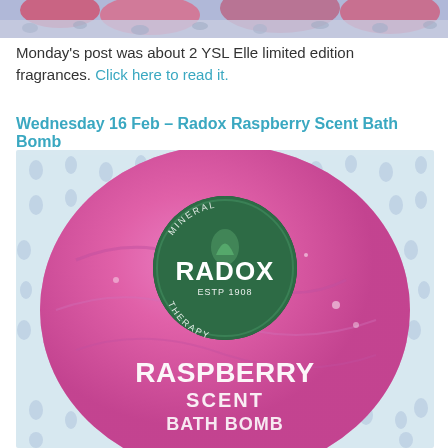[Figure (photo): Partial view of a decorative item with floral/abstract pattern in blues and purples at the top of the page]
Monday's post was about 2 YSL Elle limited edition fragrances. Click here to read it.
Wednesday 16 Feb – Radox Raspberry Scent Bath Bomb
[Figure (photo): Close-up photo of a pink/magenta Radox Raspberry Scent Bath Bomb with a green circular label reading MINERAL RADOX ESTP 1908 THERAPY, and text RASPBERRY SCENT BATH BOMB on the pink sparkly surface, photographed on a blue dotted background]